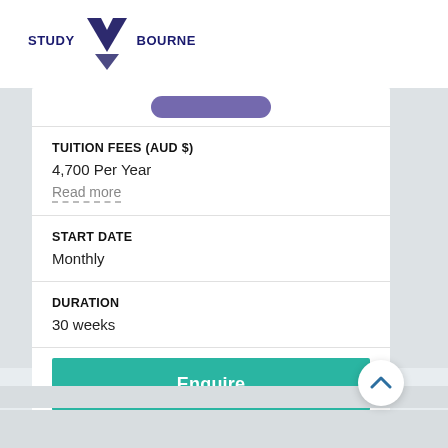[Figure (logo): Study Melbourne logo with inverted triangle chevron in dark blue/purple, text reads STUDY MELBOURNE]
TUITION FEES (AUD $)
4,700 Per Year
Read more
START DATE
Monthly
DURATION
30 weeks
Enquire